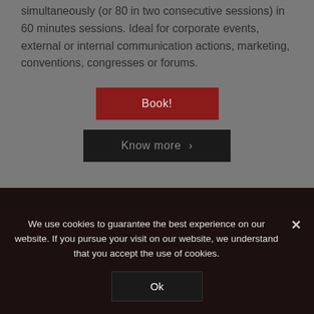simultaneously (or 80 in two consecutive sessions) in 60 minutes sessions. Ideal for corporate events, external or internal communication actions, marketing, conventions, congresses or forums.
Book!
Know more ›
We use cookies to guarantee the best experience on our website. If you pursue your visit on our website, we understand that you accept the use of cookies.
Ok